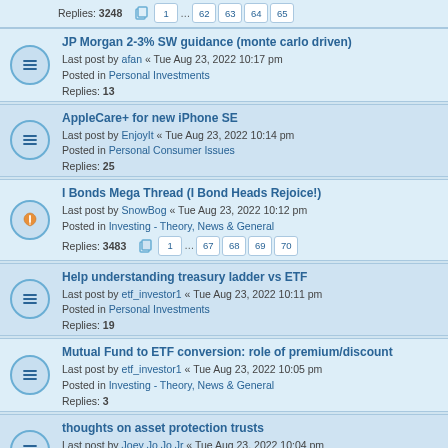Replies: 3248 | pages: 1 ... 62 63 64 65
JP Morgan 2-3% SW guidance (monte carlo driven)
Last post by afan « Tue Aug 23, 2022 10:17 pm
Posted in Personal Investments
Replies: 13
AppleCare+ for new iPhone SE
Last post by EnjoyIt « Tue Aug 23, 2022 10:14 pm
Posted in Personal Consumer Issues
Replies: 25
I Bonds Mega Thread (I Bond Heads Rejoice!)
Last post by SnowBog « Tue Aug 23, 2022 10:12 pm
Posted in Investing - Theory, News & General
Replies: 3483 | pages: 1 ... 67 68 69 70
Help understanding treasury ladder vs ETF
Last post by etf_investor1 « Tue Aug 23, 2022 10:11 pm
Posted in Personal Investments
Replies: 19
Mutual Fund to ETF conversion: role of premium/discount
Last post by etf_investor1 « Tue Aug 23, 2022 10:05 pm
Posted in Investing - Theory, News & General
Replies: 3
thoughts on asset protection trusts
Last post by Joey Jo Jo Jr « Tue Aug 23, 2022 10:04 pm
Posted in Personal Finance (Not Investing)
Replies: 2
Wade Pfau's Retirement (2.2% SWR, Annuities)
Last post by calmaniac « Tue Aug 23, 2022 10:04 pm
Posted in Investing - Theory, News & General